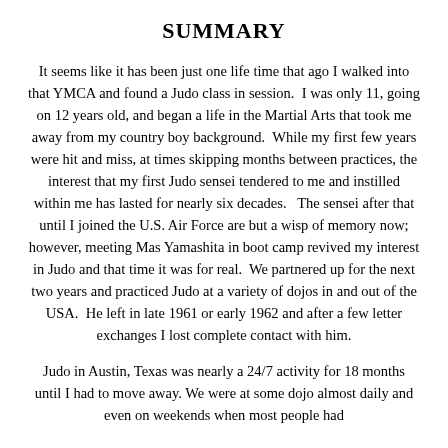SUMMARY
It seems like it has been just one life time that ago I walked into that YMCA and found a Judo class in session.  I was only 11, going on 12 years old, and began a life in the Martial Arts that took me away from my country boy background.  While my first few years were hit and miss, at times skipping months between practices, the interest that my first Judo sensei tendered to me and instilled within me has lasted for nearly six decades.   The sensei after that until I joined the U.S. Air Force are but a wisp of memory now; however, meeting Mas Yamashita in boot camp revived my interest in Judo and that time it was for real.  We partnered up for the next two years and practiced Judo at a variety of dojos in and out of the USA.  He left in late 1961 or early 1962 and after a few letter exchanges I lost complete contact with him.
Judo in Austin, Texas was nearly a 24/7 activity for 18 months until I had to move away. We were at some dojo almost daily and even on weekends when most people had